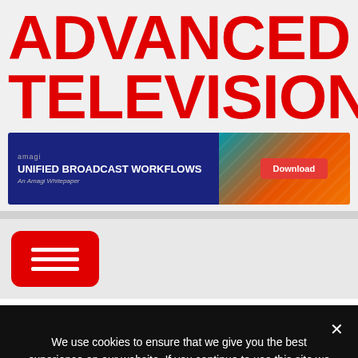ADVANCED TELEVISION
[Figure (infographic): Amagi advertisement banner: 'UNIFIED BROADCAST WORKFLOWS - An Amagi Whitepaper' with a Download button on the right side showing a colorful motion-blur background]
[Figure (other): Red rounded-rectangle hamburger/menu button with three horizontal white lines]
We use cookies to ensure that we give you the best experience on our website. If you continue to use this site we will assume that you are happy with it.
Ok